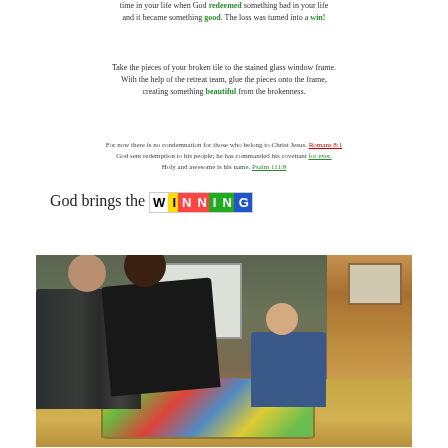time in your life when God redeemed something bad in your life and it became something good. The loss was turned into a win!
Take the pieces of your broken tile to the stained glass window frame. With the help of the retreat team, glue the pieces onto the frame, creating something beautiful from the brokenness.
For now there is no condemnation for those who belong to Christ Jesus. Romans 8:1
God sent redemption to his people; he has commanded his covenant for ever. Holy and awesome is his name. Psalm 111:9
God brings the WINNING
[Figure (photo): Photo of two young people leaning over a large stained glass artwork on a wooden table in a cabin-like setting, with a woman seated in the background near a whiteboard]